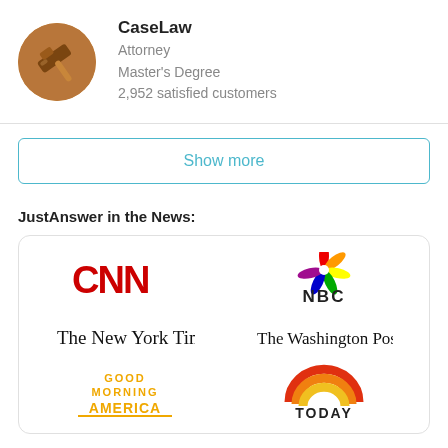[Figure (photo): Circular avatar image of a wooden gavel representing CaseLaw attorney profile]
CaseLaw
Attorney
Master's Degree
2,952 satisfied customers
Show more
JustAnswer in the News:
[Figure (logo): Panel with media logos: CNN, NBC, The New York Times, The Washington Post, Good Morning America, TODAY]